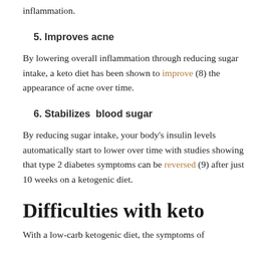inflammation.
5. Improves acne
By lowering overall inflammation through reducing sugar intake, a keto diet has been shown to improve (8) the appearance of acne over time.
6. Stabilizes  blood sugar
By reducing sugar intake, your body's insulin levels automatically start to lower over time with studies showing that type 2 diabetes symptoms can be reversed (9) after just 10 weeks on a ketogenic diet.
Difficulties with keto
With a low-carb ketogenic diet, the symptoms of